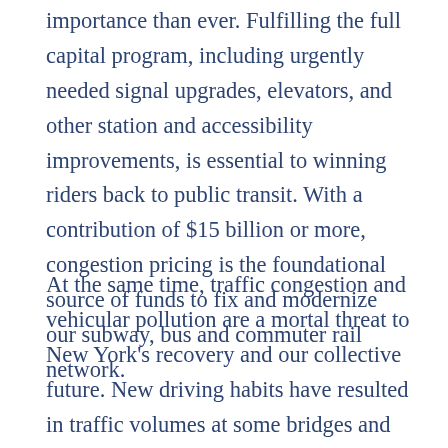importance than ever. Fulfilling the full capital program, including urgently needed signal upgrades, elevators, and other station and accessibility improvements, is essential to winning riders back to public transit. With a contribution of $15 billion or more, congestion pricing is the foundational source of funds to fix and modernize our subway, bus and commuter rail network.
At the same time, traffic congestion and vehicular pollution are a mortal threat to New York's recovery and our collective future. New driving habits have resulted in traffic volumes at some bridges and tunnels that already exceed pre-